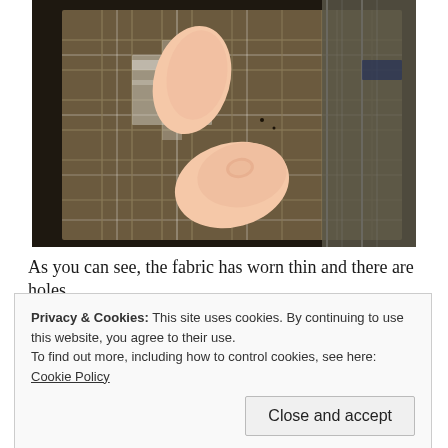[Figure (photo): A hand holding up a section of plaid fabric (brown, grey, and white checked pattern) showing worn thin areas and small holes in the material.]
As you can see, the fabric has worn thin and there are holes
Privacy & Cookies: This site uses cookies. By continuing to use this website, you agree to their use.
To find out more, including how to control cookies, see here: Cookie Policy
Close and accept